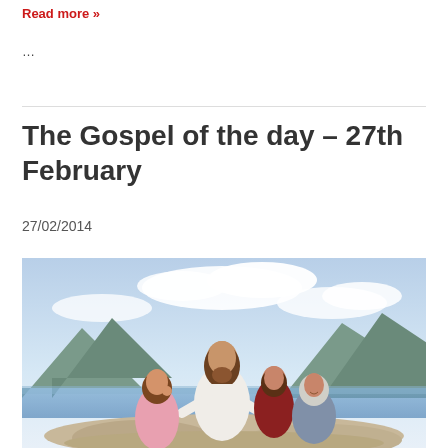Read more »
…
The Gospel of the day – 27th February
27/02/2014
[Figure (illustration): Illustration of Jesus sitting with three children outdoors near a lake with mountains in the background]